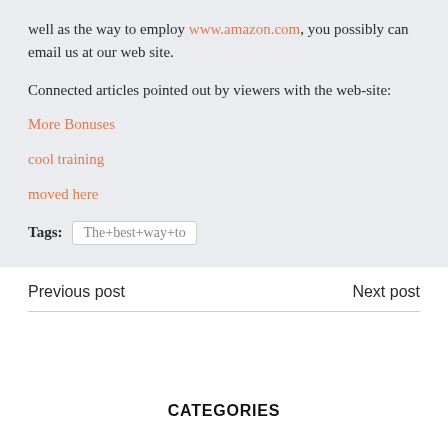well as the way to employ www.amazon.com, you possibly can email us at our web site.
Connected articles pointed out by viewers with the web-site:
More Bonuses
cool training
moved here
Tags: The+best+way+to
Previous post
Next post
CATEGORIES